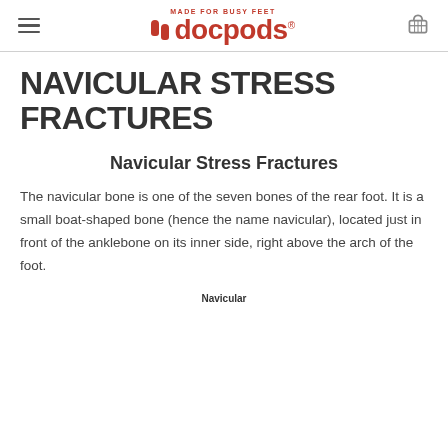docpods — MADE FOR BUSY FEET
NAVICULAR STRESS FRACTURES
Navicular Stress Fractures
The navicular bone is one of the seven bones of the rear foot. It is a small boat-shaped bone (hence the name navicular), located just in front of the anklebone on its inner side, right above the arch of the foot.
Navicular